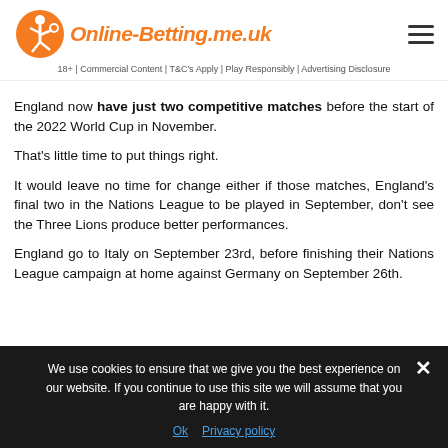Online-Betting.me.uk
18+ | Commercial Content | T&C's Apply | Play Responsibly | Advertising Disclosure
England now have just two competitive matches before the start of the 2022 World Cup in November.
That's little time to put things right.
It would leave no time for change either if those matches, England's final two in the Nations League to be played in September, don't see the Three Lions produce better performances.
England go to Italy on September 23rd, before finishing their Nations League campaign at home against Germany on September 26th.
We use cookies to ensure that we give you the best experience on our website. If you continue to use this site we will assume that you are happy with it.